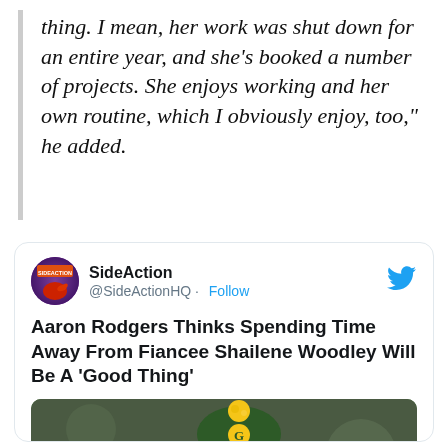thing. I mean, her work was shut down for an entire year, and she's booked a number of projects. She enjoys working and her own routine, which I obviously enjoy, too," he added.
[Figure (screenshot): Embedded tweet from @SideActionHQ with headline 'Aaron Rodgers Thinks Spending Time Away From Fiancee Shailene Woodley Will Be A Good Thing' and a photo of Aaron Rodgers wearing a Green Bay Packers winter hat]